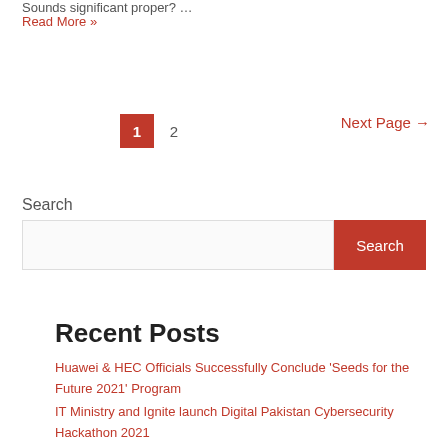Sounds significant proper? …
Read More »
1  2  Next Page →
Search
Search
Recent Posts
Huawei & HEC Officials Successfully Conclude 'Seeds for the Future 2021' Program
IT Ministry and Ignite launch Digital Pakistan Cybersecurity Hackathon 2021